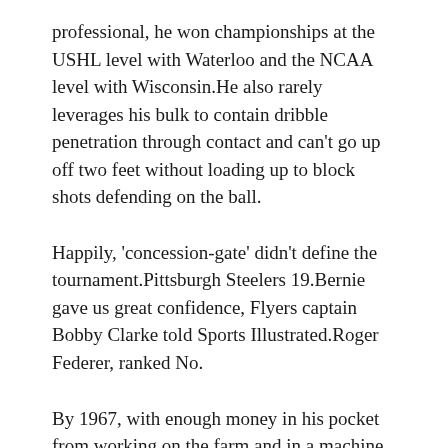professional, he won championships at the USHL level with Waterloo and the NCAA level with Wisconsin.He also rarely leverages his bulk to contain dribble penetration through contact and can't go up off two feet without loading up to block shots defending on the ball.
Happily, 'concession-gate' didn't define the tournament.Pittsburgh Steelers 19.Bernie gave us great confidence, Flyers captain Bobby Clarke told Sports Illustrated.Roger Federer, ranked No.
By 1967, with enough money in his pocket from working on the farm and in a machine shop for $2 an hour, the guys began the search for a '66 Shelby G.T.Rob Gronkowski retired, while Trent Brown and Dwayne Allen departed in free agency.I've never seen a person from the opposite team and they're on the receiving end of a questionable catch. ©3'Oh